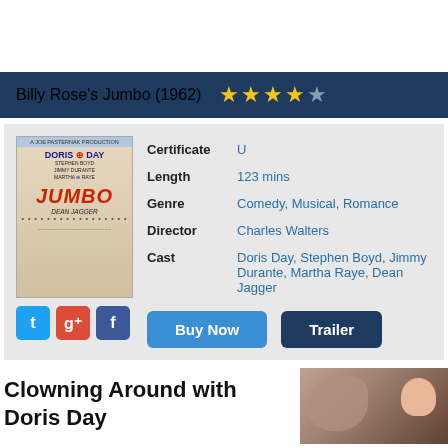Billy Rose's Jumbo (1962) ★★★★☆
[Figure (illustration): Movie poster for Billy Rose's Jumbo (1962) featuring Doris Day, Jimmy Durante, Martha Raye, Dean Jagger with circus elephant imagery and JUMBO text in red]
| Certificate | U |
| Length | 123 mins |
| Genre | Comedy, Musical, Romance |
| Director | Charles Walters |
| Cast | Doris Day, Stephen Boyd, Jimmy Durante, Martha Raye, Dean Jagger |
Buy Now
Trailer
Clowning Around with Doris Day
[Figure (photo): Photo of Doris Day with an elephant close-up]